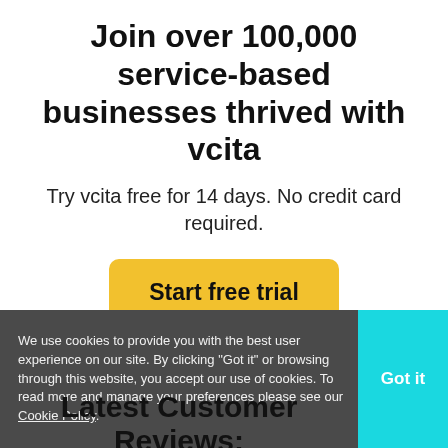Join over 100,000 service-based businesses thrived with vcita
Try vcita free for 14 days. No credit card required.
Start free trial
We use cookies to provide you with the best user experience on our site. By clicking "Got it" or browsing through this website, you accept our use of cookies. To read more and manage your preferences please see our Cookie Policy.
Got it
Latest Customer Reviews: